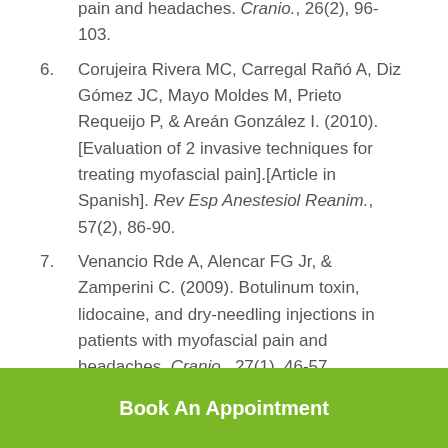pain and headaches. Cranio., 26(2), 96-103.
6. Corujeira Rivera MC, Carregal Rañó A, Diz Gómez JC, Mayo Moldes M, Prieto Requeijo P, & Areán González I. (2010). [Evaluation of 2 invasive techniques for treating myofascial pain].[Article in Spanish]. Rev Esp Anestesiol Reanim., 57(2), 86-90.
7. Venancio Rde A, Alencar FG Jr, & Zamperini C. (2009). Botulinum toxin, lidocaine, and dry-needling injections in patients with myofascial pain and headaches. Cranio., 27(1), 46-57.
Book An Appointment